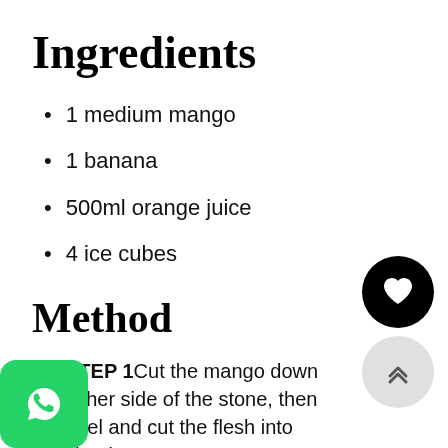Ingredients
1 medium mango
1 banana
500ml orange juice
4 ice cubes
Method
STEP 1 Cut the mango down either side of the stone, then peel and cut the flesh into chunks.
STEP 2 Peel and chop the banana.